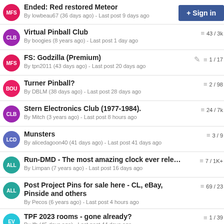Ended: Red restored Meteor
By lowbeau67 (36 days ago) - Last post 9 days ago
Virtual Pinball Club
By boogies (8 years ago) - Last post 1 day ago | 43 / 3k
FS: Godzilla (Premium)
By tpn2011 (43 days ago) - Last post 20 days ago | 1 / 17
Turner Pinball?
By DBLM (38 days ago) - Last post 28 days ago | 2 / 98
Stern Electronics Club (1977-1984).
By Mitch (3 years ago) - Last post 8 hours ago | 24 / 7k
Munsters
By alicedagoon40 (41 days ago) - Last post 41 days ago | 3 / 9
Run-DMD - The most amazing clock ever released!
By Limpan (7 years ago) - Last post 16 days ago | 7 / 1K+
Post Project Pins for sale here - CL, eBay, Pinside and others
By Pecos (6 years ago) - Last post 4 hours ago | 69 / 23
TPF 2023 rooms - gone already?
By jfh (45 days ago) - Last post 44 days ago | 1 / 39
FS: Scared Stiff  $10,000 (OBO)  Salt Lake City, UT
By DancinBear (62 days ago) - Last post 45 days ago | 1 / 8
Refill Kit For Dremel $10, Mini Wet/Dry Vac $10